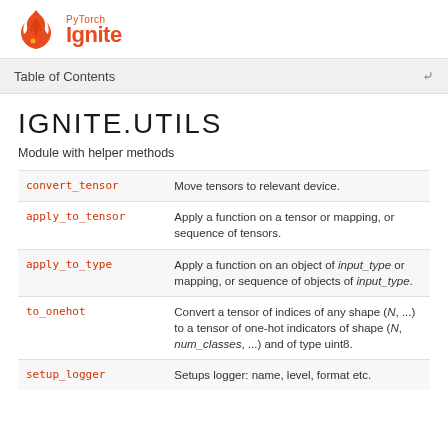[Figure (logo): PyTorch Ignite logo with flame icon and text 'PyTorch Ignite' in orange/red]
Table of Contents
IGNITE.UTILS
Module with helper methods
| Function | Description |
| --- | --- |
| convert_tensor | Move tensors to relevant device. |
| apply_to_tensor | Apply a function on a tensor or mapping, or sequence of tensors. |
| apply_to_type | Apply a function on an object of input_type or mapping, or sequence of objects of input_type. |
| to_onehot | Convert a tensor of indices of any shape (N, ...) to a tensor of one-hot indicators of shape (N, num_classes, ...) and of type uint8. |
| setup_logger | Setups logger: name, level, format etc. |